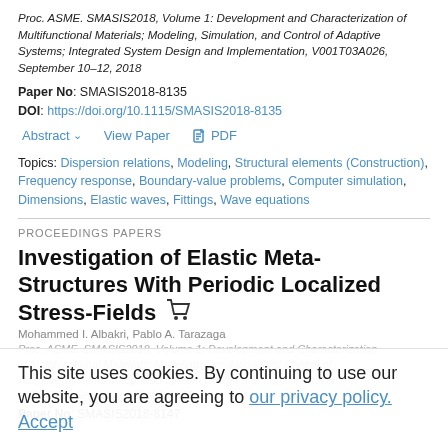Proc. ASME. SMASIS2018, Volume 1: Development and Characterization of Multifunctional Materials; Modeling, Simulation, and Control of Adaptive Systems; Integrated System Design and Implementation, V001T03A026, September 10–12, 2018
Paper No: SMASIS2018-8135
DOI: https://doi.org/10.1115/SMASIS2018-8135
Abstract  View Paper  PDF
Topics: Dispersion relations, Modeling, Structural elements (Construction), Frequency response, Boundary-value problems, Computer simulation, Dimensions, Elastic waves, Fittings, Wave equations
PROCEEDINGS PAPERS
Investigation of Elastic Meta-Structures With Periodic Localized Stress-Fields
Mohammed I. Albakri, Pablo A. Tarazaga
This site uses cookies. By continuing to use our website, you are agreeing to our privacy policy. Accept